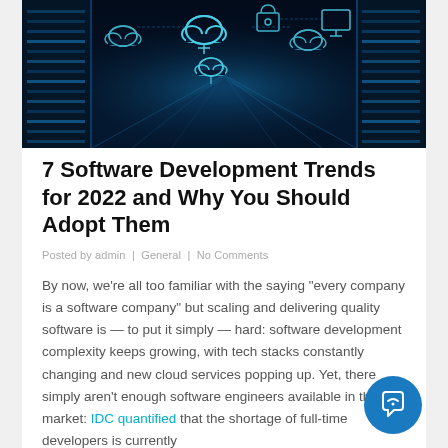[Figure (photo): Blue-toned data center corridor with glowing cloud icons and network diagrams floating above server racks, illustrating cloud computing and software infrastructure.]
7 Software Development Trends for 2022 and Why You Should Adopt Them
Posted by admin | General | No Comments
By now, we’re all too familiar with the saying “every company is a software company” but scaling and delivering quality software is — to put it simply — hard: software development complexity keeps growing, with tech stacks constantly changing and new cloud services popping up. Yet, there simply aren’t enough software engineers available in the market: IDC quantified that the shortage of full-time developers is currently